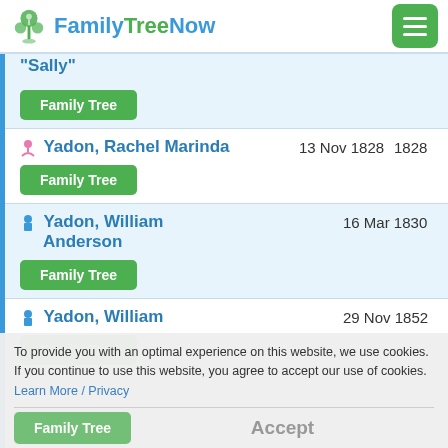FamilyTreeNow
"Sally"
Family Tree
Yadon, Rachel Marinda   13 Nov 1828   1828
Family Tree
Yadon, William Anderson   16 Mar 1830
Family Tree
Yadon, William   29 Nov 1852
Family Tree
To provide you with an optimal experience on this website, we use cookies. If you continue to use this website, you agree to accept our use of cookies. Learn More / Privacy
Accept